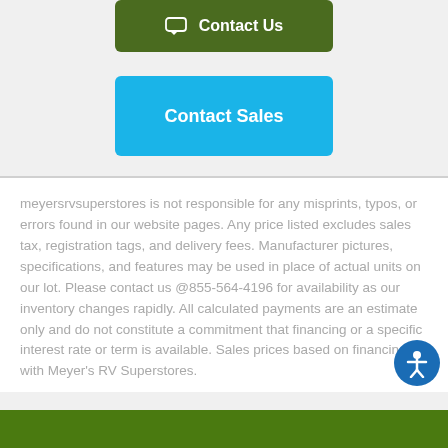[Figure (other): Dark olive green 'Contact Us' button with speech bubble icon]
[Figure (other): Cyan/blue 'Contact Sales' button]
meyersrvsuperstores is not responsible for any misprints, typos, or errors found in our website pages. Any price listed excludes sales tax, registration tags, and delivery fees. Manufacturer pictures, specifications, and features may be used in place of actual units on our lot. Please contact us @855-564-4196 for availability as our inventory changes rapidly. All calculated payments are an estimate only and do not constitute a commitment that financing or a specific interest rate or term is available. Sales prices based on financing with Meyer's RV Superstores.
[Figure (other): Accessibility icon button (blue circle with person figure)]